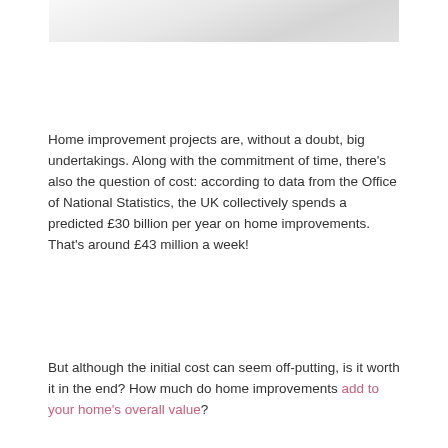[Figure (photo): Partial photo of white pillows or soft white fabric at the top of the page]
Home improvement projects are, without a doubt, big undertakings. Along with the commitment of time, there's also the question of cost: according to data from the Office of National Statistics, the UK collectively spends a predicted £30 billion per year on home improvements. That's around £43 million a week!
But although the initial cost can seem off-putting, is it worth it in the end? How much do home improvements add to your home's overall value?